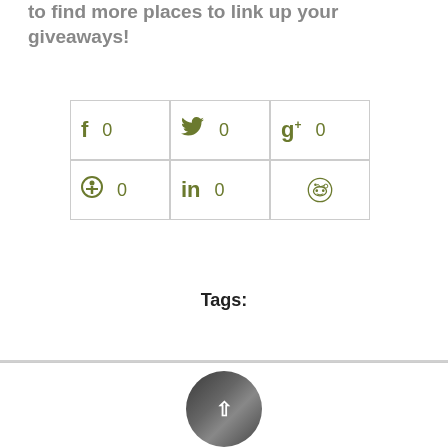to find more places to link up your giveaways!
[Figure (infographic): Social sharing buttons grid: Facebook (0), Twitter (0), Google+ (0), Pinterest (0), LinkedIn (0), Reddit (no count)]
Tags:
[Figure (photo): Circular avatar photo of a person, partially visible, with a scroll-up arrow overlay]